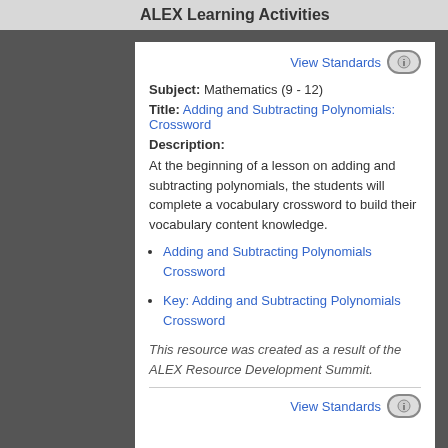ALEX Learning Activities
View Standards
Subject: Mathematics (9 - 12)
Title: Adding and Subtracting Polynomials: Crossword
Description:
At the beginning of a lesson on adding and subtracting polynomials, the students will complete a vocabulary crossword to build their vocabulary content knowledge.
Adding and Subtracting Polynomials Crossword
Key: Adding and Subtracting Polynomials Crossword
This resource was created as a result of the ALEX Resource Development Summit.
View Standards